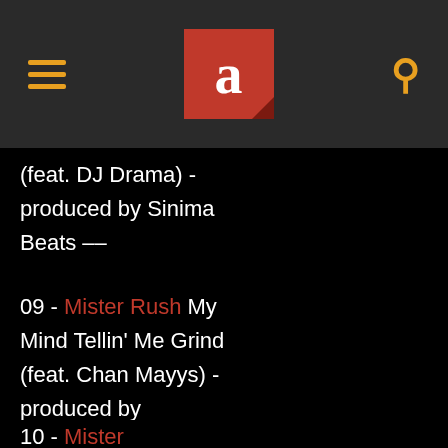Audiomack header with hamburger menu, logo, and search icon
(feat. DJ Drama) - produced by Sinima Beats --
09 - Mister Rush My Mind Tellin' Me Grind (feat. Chan Mayys) - produced by CuzzoMadeThisBeat --
10 - Mister Rush GTEOH -